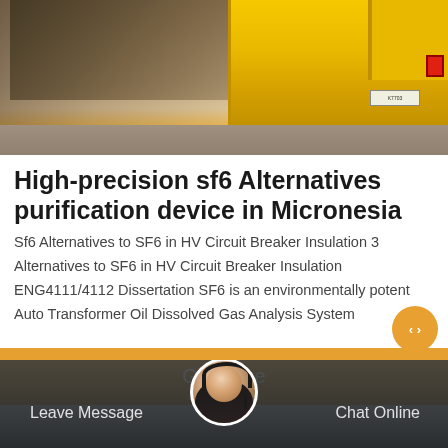[Figure (photo): Construction scene showing an excavator arm and yellow truck/vehicle on a dirt road]
High-precision sf6 Alternatives purification device in Micronesia
Sf6 Alternatives to SF6 in HV Circuit Breaker Insulation 3 Alternatives to SF6 in HV Circuit Breaker Insulation ENG4111/4112 Dissertation SF6 is an environmentally potent Auto Transformer Oil Dissolved Gas Analysis System
Get Price
[Figure (photo): Bottom navigation bar with customer service avatar, Leave Message and Chat Online options on dark background]